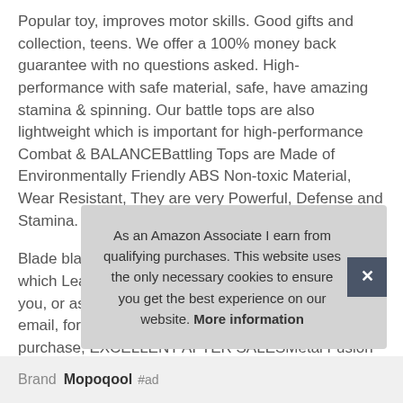Popular toy, improves motor skills. Good gifts and collection, teens. We offer a 100% money back guarantee with no questions asked. High-performance with safe material, safe, have amazing stamina & spinning. Our battle tops are also lightweight which is important for high-performance Combat & BALANCEBattling Tops are Made of Environmentally Friendly ABS Non-toxic Material, Wear Resistant, They are very Powerful, Defense and Stamina.
Blade blade set spins a long Time to Gain Attack, which Leads to their High-Performance Combat. If you, or as reward or festival, feel free to drop us an email, for any reason, are not satisfied with your purchase, EXCELLENT AFTER SALESMetal Fusion Blade Torrin Good for Children Birthday Present, not ass... Rep...
As an Amazon Associate I earn from qualifying purchases. This website uses the only necessary cookies to ensure you get the best experience on our website. More information
Brand Mopoqool #ad